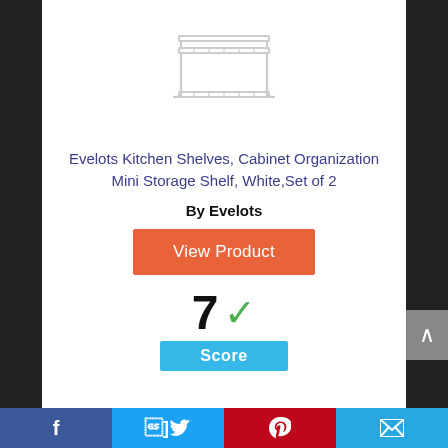[Figure (illustration): White wire shelf/rack product illustration shown from a slight angle, minimalist line drawing on white background.]
Evelots Kitchen Shelves, Cabinet Organization Mini Storage Shelf, White,Set of 2
By Evelots
View Product
7 ✓
Score